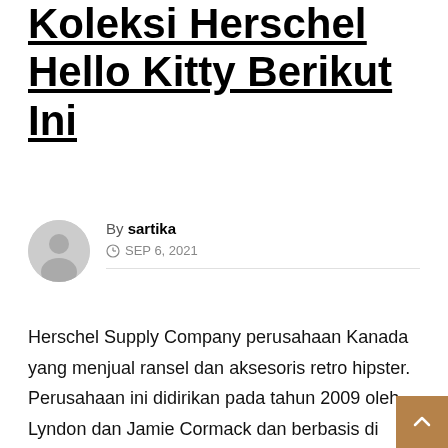Koleksi Herschel Hello Kitty Berikut Ini
By sartika
SEP 6, 2021
Herschel Supply Company perusahaan Kanada yang menjual ransel dan aksesoris retro hipster. Perusahaan ini didirikan pada tahun 2009 oleh Lyndon dan Jamie Cormack dan berbasis di Vancouver, British Columbia. Herschel memproduksi produk di 15 pabrik di China. Salah satu motif andalannya adalah